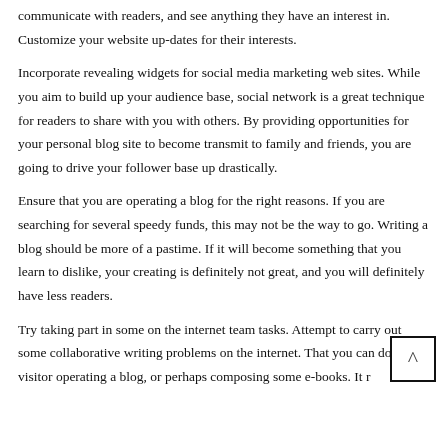communicate with readers, and see anything they have an interest in. Customize your website up-dates for their interests.
Incorporate revealing widgets for social media marketing web sites. While you aim to build up your audience base, social network is a great technique for readers to share with you with others. By providing opportunities for your personal blog site to become transmit to family and friends, you are going to drive your follower base up drastically.
Ensure that you are operating a blog for the right reasons. If you are searching for several speedy funds, this may not be the way to go. Writing a blog should be more of a pastime. If it will become something that you learn to dislike, your creating is definitely not great, and you will definitely have less readers.
Try taking part in some on the internet team tasks. Attempt to carry out some collaborative writing problems on the internet. That you can do like visitor operating a blog, or perhaps composing some e-books. It r